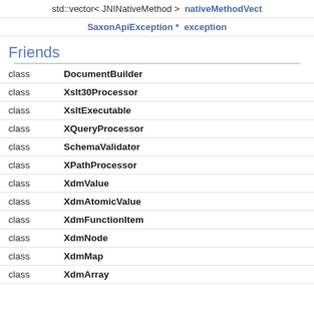| std::vector< JNINativeMethod > | nativeMethodVect |
| SaxonApiException * | exception |
Friends
| class | DocumentBuilder |
| class | Xslt30Processor |
| class | XsltExecutable |
| class | XQueryProcessor |
| class | SchemaValidator |
| class | XPathProcessor |
| class | XdmValue |
| class | XdmAtomicValue |
| class | XdmFunctionItem |
| class | XdmNode |
| class | XdmMap |
| class | XdmArray |